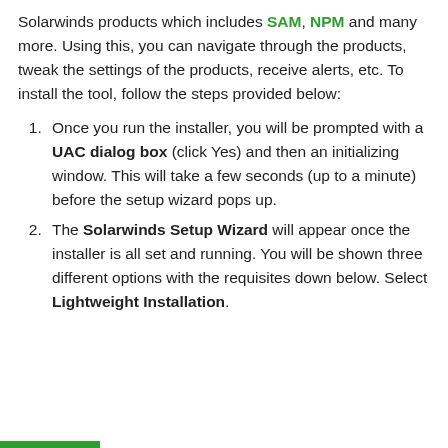Solarwinds products which includes SAM, NPM and many more. Using this, you can navigate through the products, tweak the settings of the products, receive alerts, etc. To install the tool, follow the steps provided below:
Once you run the installer, you will be prompted with a UAC dialog box (click Yes) and then an initializing window. This will take a few seconds (up to a minute) before the setup wizard pops up.
The Solarwinds Setup Wizard will appear once the installer is all set and running. You will be shown three different options with the requisites down below. Select Lightweight Installation.